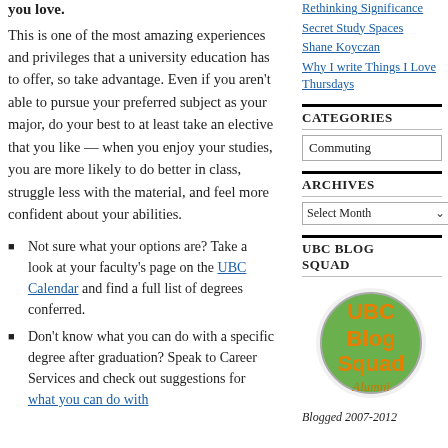you love.
This is one of the most amazing experiences and privileges that a university education has to offer, so take advantage. Even if you aren't able to pursue your preferred subject as your major, do your best to at least take an elective that you like — when you enjoy your studies, you are more likely to do better in class, struggle less with the material, and feel more confident about your abilities.
Not sure what your options are? Take a look at your faculty's page on the UBC Calendar and find a full list of degrees conferred.
Don't know what you can do with a specific degree after graduation? Speak to Career Services and check out suggestions for what you can do with
Rethinking Significance
Secret Study Spaces
Shane Koyczan
Why I write Things I Love Thursdays
CATEGORIES
Commuting
ARCHIVES
Select Month
UBC BLOG SQUAD
[Figure (logo): UBC Blog Squad Alumni circular logo with green background and orange text]
Blogged 2007-2012